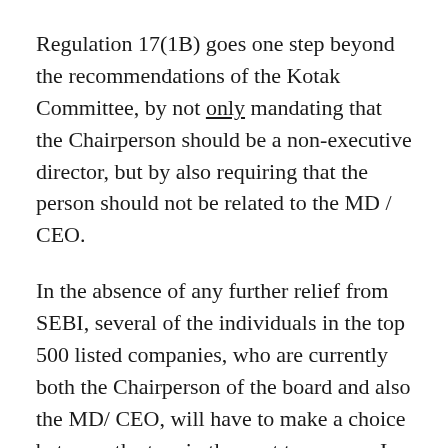Regulation 17(1B) goes one step beyond the recommendations of the Kotak Committee, by not only mandating that the Chairperson should be a non-executive director, but by also requiring that the person should not be related to the MD / CEO.
In the absence of any further relief from SEBI, several of the individuals in the top 500 listed companies, who are currently both the Chairperson of the board and also the MD/ CEO, will have to make a choice between the two in the next two years. In this context, whilst the role of an MD/ CEO of a company is fairly clear, it is necessary to examine the role of a Chairperson.
The statutory role of the Chairperson as provided in the Companies Act is fairly limited. He presides over the meetings of the board and shareholders of the